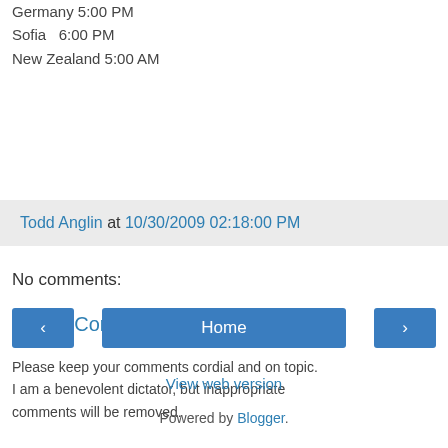Germany 5:00 PM
Sofia  6:00 PM
New Zealand 5:00 AM
Todd Anglin at 10/30/2009 02:18:00 PM
No comments:
Post a Comment
Please keep your comments cordial and on topic. I am a benevolent dictator, but inappropriate comments will be removed.
Home
View web version
Powered by Blogger.